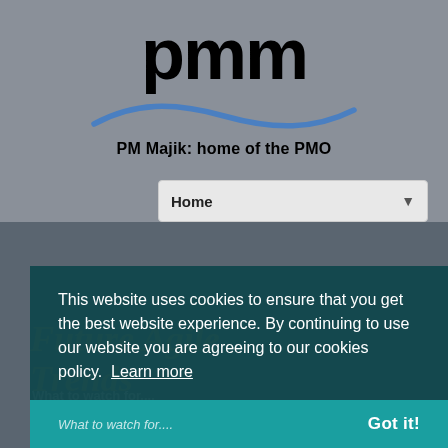[Figure (logo): PMM logo with 'pmm' in large bold black text, a blue wave graphic below, and tagline 'PM Majik: home of the PMO' on a grey background]
Home
[Figure (screenshot): Website screenshot showing cookie consent banner overlay on a page with 'Future Agile Trends' heading and telescope photograph background]
This website uses cookies to ensure that you get the best website experience. By continuing to use our website you are agreeing to our cookies policy.  Learn more
What to watch for....
Got it!
pmmajik.com